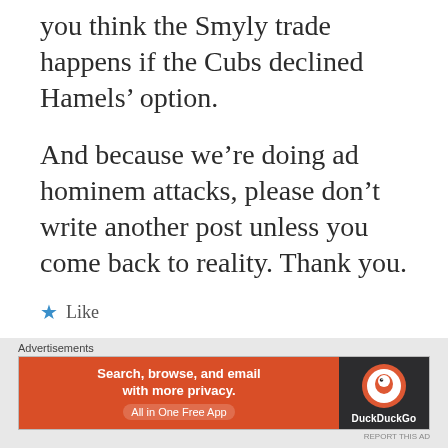you think the Smyly trade happens if the Cubs declined Hamels’ option.
And because we’re doing ad hominem attacks, please don’t write another post unless you come back to reality. Thank you.
★ Like
[Figure (other): Close/X button circle icon]
Advertisements
[Figure (other): DuckDuckGo advertisement banner: Search, browse, and email with more privacy. All in One Free App. DuckDuckGo logo on dark background.]